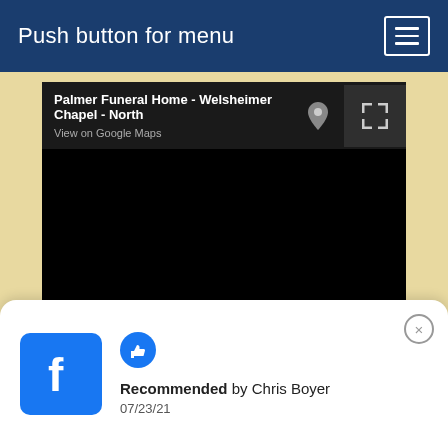Push button for menu
[Figure (screenshot): Google Maps embed showing Palmer Funeral Home - Welsheimer Chapel - North location with black map area and navigation controls]
Recommended by Chris Boyer
07/23/21